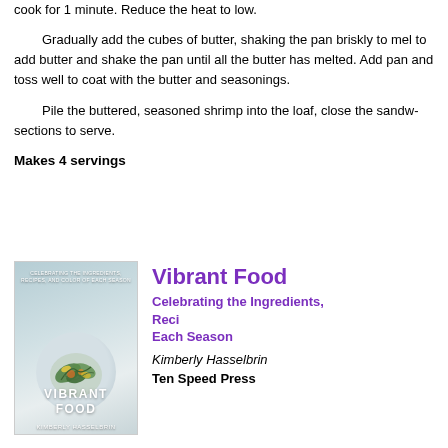cook for 1 minute. Reduce the heat to low.
Gradually add the cubes of butter, shaking the pan briskly to melt, to add butter and shake the pan until all the butter has melted. Add pan and toss well to coat with the butter and seasonings.
Pile the buttered, seasoned shrimp into the loaf, close the sandwich sections to serve.
Makes 4 servings
[Figure (photo): Book cover of Vibrant Food by Kimberly Hasselbrin showing a plate with green salad ingredients on a light blue background]
Vibrant Food
Celebrating the Ingredients, Recipes, and Color of Each Season
Kimberly Hasselbrin
Ten Speed Press